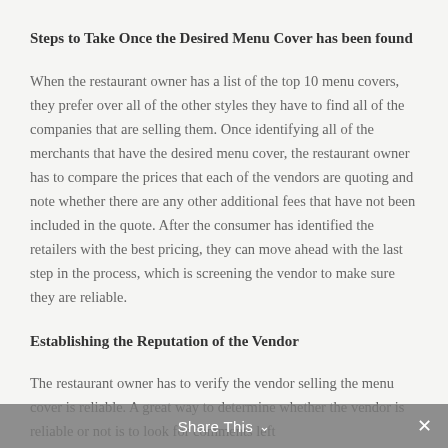Steps to Take Once the Desired Menu Cover has been found
When the restaurant owner has a list of the top 10 menu covers, they prefer over all of the other styles they have to find all of the companies that are selling them. Once identifying all of the merchants that have the desired menu cover, the restaurant owner has to compare the prices that each of the vendors are quoting and note whether there are any other additional fees that have not been included in the quote. After the consumer has identified the retailers with the best pricing, they can move ahead with the last step in the process, which is screening the vendor to make sure they are reliable.
Establishing the Reputation of the Vendor
The restaurant owner has to verify the vendor selling the menu cover is reliable. A great way to determine whether the vendor is reliable or not is to look for comments left
Share This